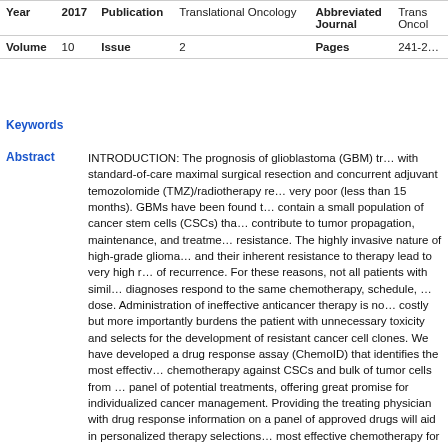| Year | 2017 | Publication | Translational Oncology | Abbreviated Journal | Trans Oncol |
| --- | --- | --- | --- | --- | --- |
| Volume | 10 | Issue | 2 | Pages | 241-2… |
Keywords
Abstract — INTRODUCTION: The prognosis of glioblastoma (GBM) treated with standard-of-care maximal surgical resection and concurrent adjuvant temozolomide (TMZ)/radiotherapy remains very poor (less than 15 months). GBMs have been found to contain a small population of cancer stem cells (CSCs) that contribute to tumor propagation, maintenance, and treatment resistance. The highly invasive nature of high-grade gliomas and their inherent resistance to therapy lead to very high rates of recurrence. For these reasons, not all patients with similar diagnoses respond to the same chemotherapy, schedule, or dose. Administration of ineffective anticancer therapy is not only costly but more importantly burdens the patient with unnecessary toxicity and selects for the development of resistant cancer cell clones. We have developed a drug response assay (ChemoID) that identifies the most effective chemotherapy against CSCs and bulk of tumor cells from a panel of potential treatments, offering great promise for individualized cancer management. Providing the treating physician with drug response information on a panel of approved drugs will aid in personalized therapy selections most effective chemotherapy for individual patients, thereby improving outcomes. A prospective study was conducted evaluating the use of the ChemoID drug response assay in GBM patients treated with standard of care. METHODS: P…